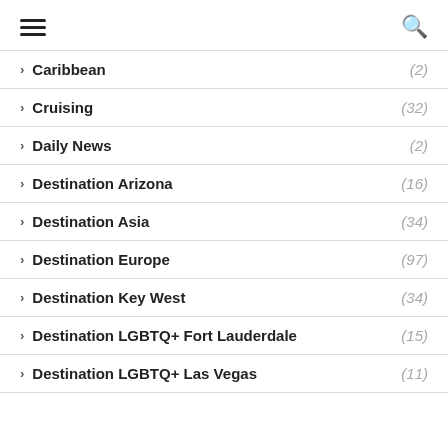Navigation menu with hamburger and search icons
Caribbean (2)
Cruising (32)
Daily News (2)
Destination Arizona (16)
Destination Asia (34)
Destination Europe (97)
Destination Key West (34)
Destination LGBTQ+ Fort Lauderdale (15)
Destination LGBTQ+ Las Vegas (11)